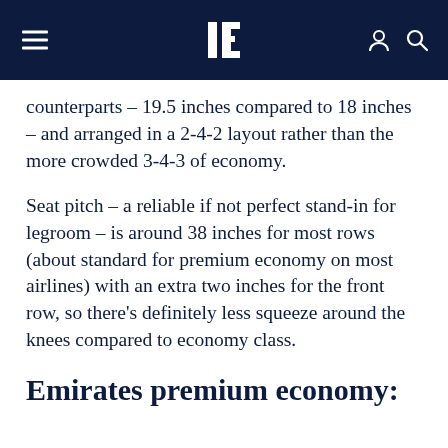Et [logo]
counterparts – 19.5 inches compared to 18 inches – and arranged in a 2-4-2 layout rather than the more crowded 3-4-3 of economy.
Seat pitch – a reliable if not perfect stand-in for legroom – is around 38 inches for most rows (about standard for premium economy on most airlines) with an extra two inches for the front row, so there's definitely less squeeze around the knees compared to economy class.
Emirates premium economy: